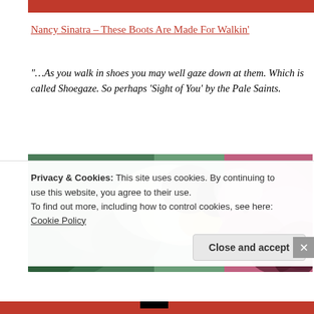Nancy Sinatra – These Boots Are Made For Walkin'
“…As you walk in shoes you may well gaze down at them. Which is called Shoegaze. So perhaps ‘Sight of You’ by the Pale Saints.
[Figure (photo): Album art or band photo showing colorful psychedelic imagery with green foliage on the left and pink/magenta tones on the right]
Privacy & Cookies: This site uses cookies. By continuing to use this website, you agree to their use.
To find out more, including how to control cookies, see here: Cookie Policy
Close and accept